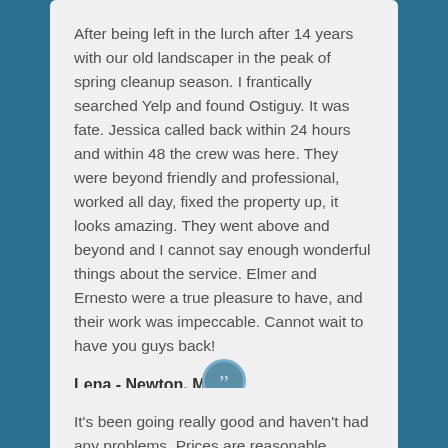After being left in the lurch after 14 years with our old landscaper in the peak of spring cleanup season. I frantically searched Yelp and found Ostiguy. It was fate. Jessica called back within 24 hours and within 48 the crew was here. They were beyond friendly and professional, worked all day, fixed the property up, it looks amazing. They went above and beyond and I cannot say enough wonderful things about the service. Elmer and Ernesto were a true pleasure to have, and their work was impeccable. Cannot wait to have you guys back!
Lena - Newton, MA
It's been going really good and haven't had any problems. Prices are reasonable.